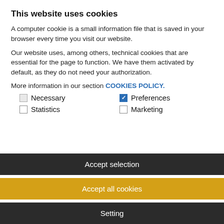This website uses cookies
A computer cookie is a small information file that is saved in your browser every time you visit our website.
Our website uses, among others, technical cookies that are essential for the page to function. We have them activated by default, as they do not need your authorization.
More information in our section COOKIES POLICY.
Necessary (checkbox, grayed)
Preferences (checkbox, checked/blue)
Statistics (checkbox, unchecked)
Marketing (checkbox, unchecked)
Accept selection
Accept all cookies
Setting